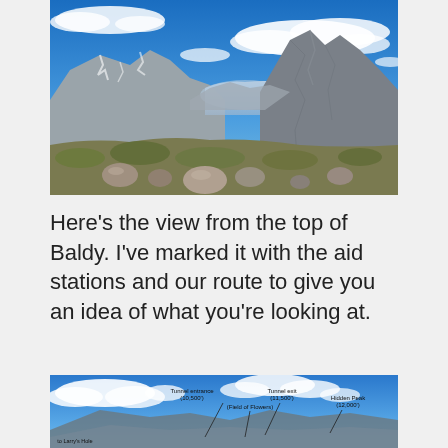[Figure (photo): Panoramic mountain landscape view from the top of Baldy, showing rocky peaks, alpine terrain with sparse vegetation and boulders in the foreground, a valley between mountain ridges in the middle ground, and a blue sky with wispy white clouds above.]
Here's the view from the top of Baldy. I've marked it with the aid stations and our route to give you an idea of what you're looking at.
[Figure (photo): Annotated mountain panorama photo showing blue sky with clouds and mountain ridges. Labels indicate: 'Tunnel entrance (10,500')', 'Tunnel exit (11,500')', 'Field of Flowers', 'Hidden Peak (12,000')', 'to Larry's Hole'. Lines point from labels down to features on the mountains.]